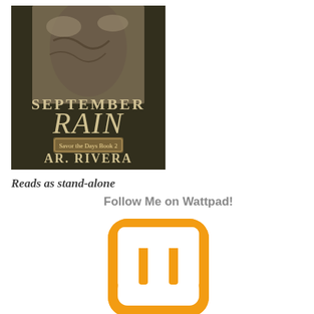[Figure (illustration): Book cover for 'September Rain' by AR. Rivera, Savor the Days Book 2. Dark moody cover with a person's torso showing tattoos, with stylized text overlay.]
Reads as stand-alone
Follow Me on Wattpad!
[Figure (logo): Wattpad logo - orange rounded square W shape icon]